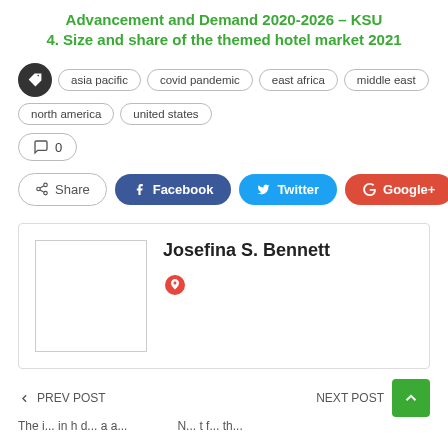Advancement and Demand 2020-2026 – KSU
4. Size and share of the themed hotel market 2021
Tags: asia pacific, covid pandemic, east africa, middle east, north america, united states
0 comments
Share | Facebook | Twitter | Google+ | +
Josefina S. Bennett
← PREV POST    NEXT POST →